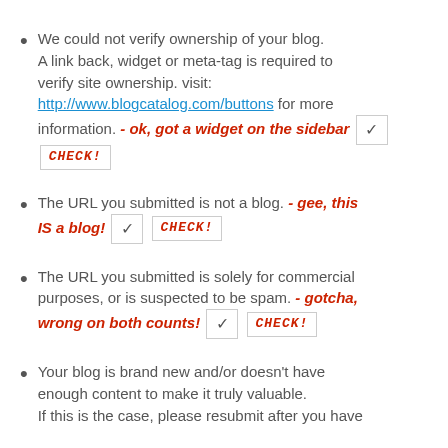We could not verify ownership of your blog. A link back, widget or meta-tag is required to verify site ownership. visit: http://www.blogcatalog.com/buttons for more information. - ok, got a widget on the sidebar [CHECK!]
The URL you submitted is not a blog. - gee, this IS a blog! [CHECK!]
The URL you submitted is solely for commercial purposes, or is suspected to be spam. - gotcha, wrong on both counts! [CHECK!]
Your blog is brand new and/or doesn't have enough content to make it truly valuable. If this is the case, please resubmit after you have